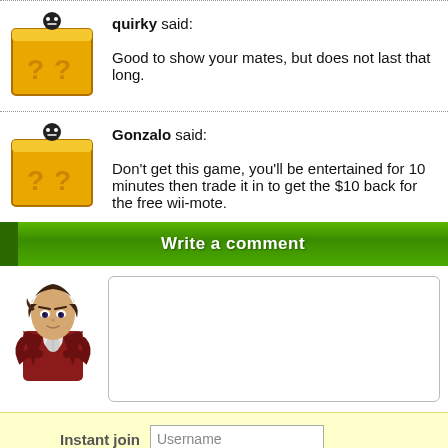quirky said: Good to show your mates, but does not last that long.
Gonzalo said: Don't get this game, you'll be entertained for 10 minutes then trade it in to get the $10 back for the free wii-mote.
Write a comment
[Figure (illustration): Anime character avatar for comment form]
Instant join
Username